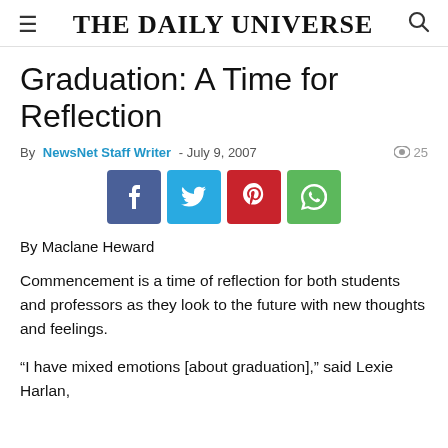THE DAILY UNIVERSE
Graduation: A Time for Reflection
By NewsNet Staff Writer - July 9, 2007  👁 25
[Figure (infographic): Social share buttons: Facebook, Twitter, Pinterest, WhatsApp]
By Maclane Heward
Commencement is a time of reflection for both students and professors as they look to the future with new thoughts and feelings.
“I have mixed emotions [about graduation],” said Lexie Harlan,